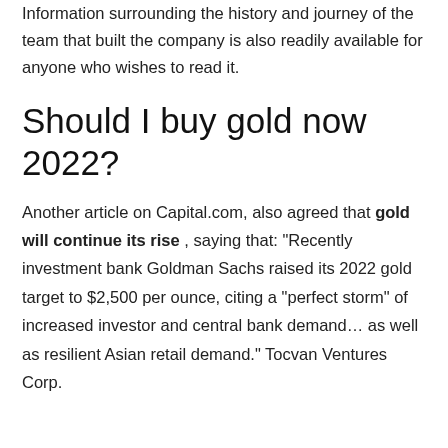Information surrounding the history and journey of the team that built the company is also readily available for anyone who wishes to read it.
Should I buy gold now 2022?
Another article on Capital.com, also agreed that gold will continue its rise , saying that: "Recently investment bank Goldman Sachs raised its 2022 gold target to $2,500 per ounce, citing a "perfect storm" of increased investor and central bank demand… as well as resilient Asian retail demand." Tocvan Ventures Corp.